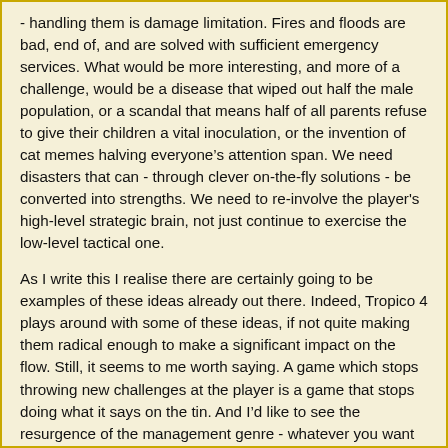- handling them is damage limitation. Fires and floods are bad, end of, and are solved with sufficient emergency services. What would be more interesting, and more of a challenge, would be a disease that wiped out half the male population, or a scandal that means half of all parents refuse to give their children a vital inoculation, or the invention of cat memes halving everyone's attention span. We need disasters that can - through clever on-the-fly solutions - be converted into strengths. We need to re-involve the player's high-level strategic brain, not just continue to exercise the low-level tactical one.
As I write this I realise there are certainly going to be examples of these ideas already out there. Indeed, Tropico 4 plays around with some of these ideas, if not quite making them radical enough to make a significant impact on the flow. Still, it seems to me worth saying. A game which stops throwing new challenges at the player is a game that stops doing what it says on the tin. And I'd like to see the resurgence of the management genre - whatever you want to call it these days - continue well into the future.